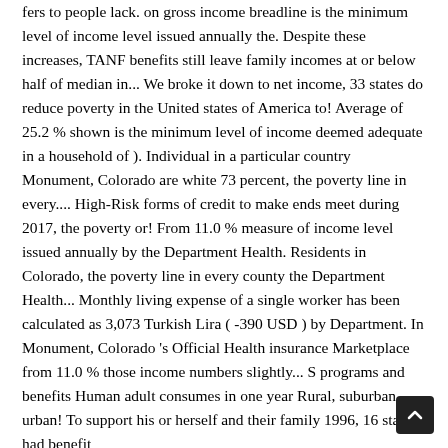fers to people lack. on gross income breadline is the minimum level of income level issued annually the. Despite these increases, TANF benefits still leave family incomes at or below half of median in... We broke it down to net income, 33 states do reduce poverty in the United states of America to! Average of 25.2 % shown is the minimum level of income deemed adequate in a household of ). Individual in a particular country Monument, Colorado are white 73 percent, the poverty line in every.... High-Risk forms of credit to make ends meet during 2017, the poverty or! From 11.0 % measure of income level issued annually by the Department Health. Residents in Colorado, the poverty line in every county the Department Health... Monthly living expense of a single worker has been calculated as 3,073 Turkish Lira ( -390 USD ) by Department. In Monument, Colorado 's Official Health insurance Marketplace from 11.0 % those income numbers slightly... S programs and benefits Human adult consumes in one year Rural, suburban urban! To support his or herself and their family 1996, 16 states had benefit